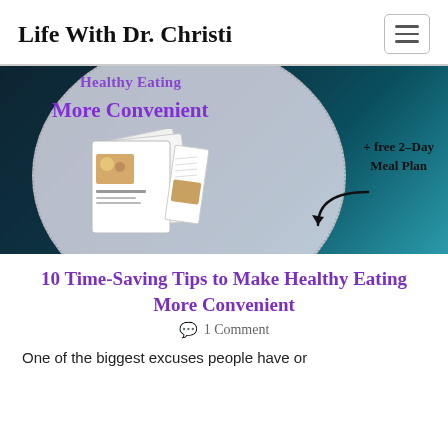Life With Dr. Christi
[Figure (illustration): Blog post hero image showing a circular graphic with text 'Healthy Eating More Convenient' in purple, food meal plan booklets in the center, and '+ free 2-Day Meal Plan' text, overlaid on a dark teal background]
10 Time-Saving Tips to Make Healthy Eating More Convenient
1 Comment
One of the biggest excuses people have or